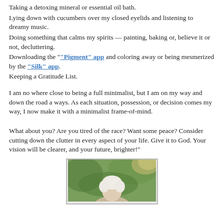Taking a detoxing mineral or essential oil bath.
Lying down with cucumbers over my closed eyelids and listening to dreamy music.
Doing something that calms my spirits — painting, baking or, believe it or not, decluttering.
Downloading the "Pigment" app and coloring away or being mesmerized by the "Silk" app.
Keeping a Gratitude List.
I am no where close to being a full minimalist, but I am on my way and down the road a ways. As each situation, possession, or decision comes my way, I now make it with a minimalist frame-of-mind.
What about you? Are you tired of the race? Want some peace? Consider cutting down the clutter in every aspect of your life. Give it to God. Your vision will be clearer, and your future, brighter!"
[Figure (photo): Portrait photo of an elderly person with white/light hair, outdoors with green foliage in the background]